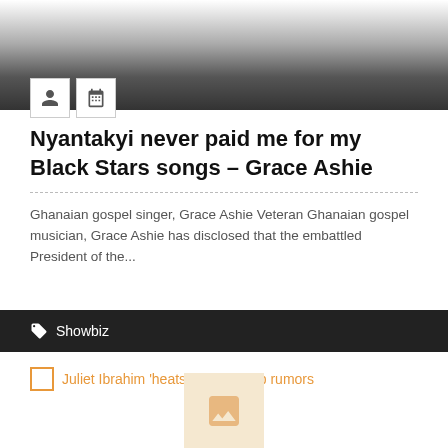[Figure (other): Dark gradient banner header with user and calendar icon buttons]
Nyantakyi never paid me for my Black Stars songs – Grace Ashie
Ghanaian gospel singer, Grace Ashie Veteran Ghanaian gospel musician, Grace Ashie has disclosed that the embattled President of the...
Showbiz
Juliet Ibrahim 'heats' up break up rumors
[Figure (other): Partially visible image placeholder at bottom of page]